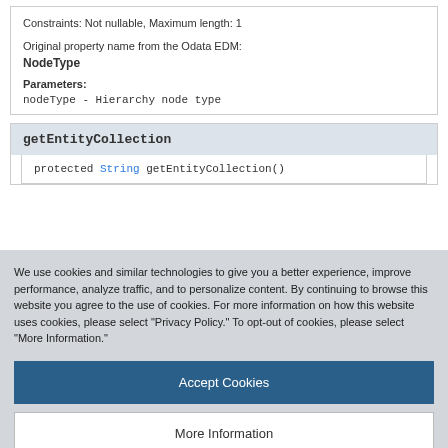Constraints: Not nullable, Maximum length: 1
Original property name from the Odata EDM:
NodeType
Parameters:
nodeType - Hierarchy node type
getEntityCollection
protected String getEntityCollection()
We use cookies and similar technologies to give you a better experience, improve performance, analyze traffic, and to personalize content. By continuing to browse this website you agree to the use of cookies. For more information on how this website uses cookies, please select "Privacy Policy." To opt-out of cookies, please select "More Information."
Accept Cookies
More Information
Privacy Policy | Powered by: TrustArc
Overrides: